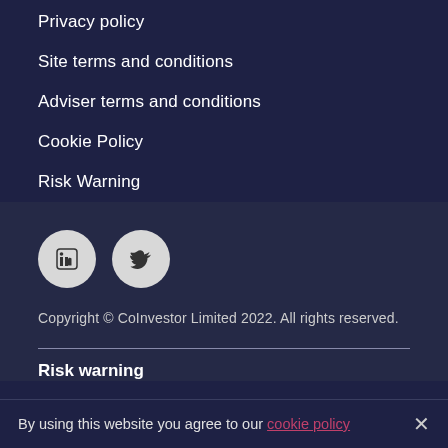Privacy policy
Site terms and conditions
Adviser terms and conditions
Cookie Policy
Risk Warning
[Figure (illustration): LinkedIn and Twitter social media icon circles]
Copyright © CoInvestor Limited 2022. All rights reserved.
Risk warning
By using this website you agree to our cookie policy ×